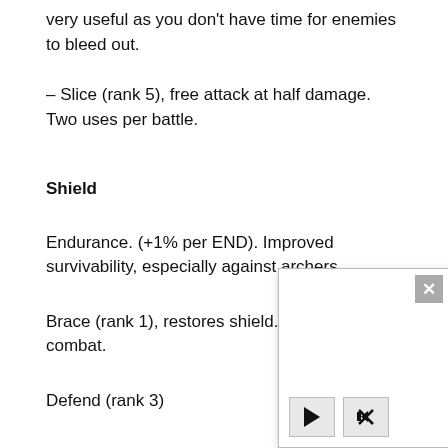very useful as you don't have time for enemies to bleed out.
– Slice (rank 5), free attack at half damage. Two uses per battle.
Shield
Endurance. (+1% per END). Improved survivability, especially against archers.
Brace (rank 1), restores shield. Once per combat.
Defend (rank 3)
Shield Bash (ran… hex behind), dis…
Sling
Perception. Essentially not a very useful weapon, compared to
[Figure (screenshot): Video player overlay popup with close button (X) in top-right corner and play/mute controls at bottom-left]